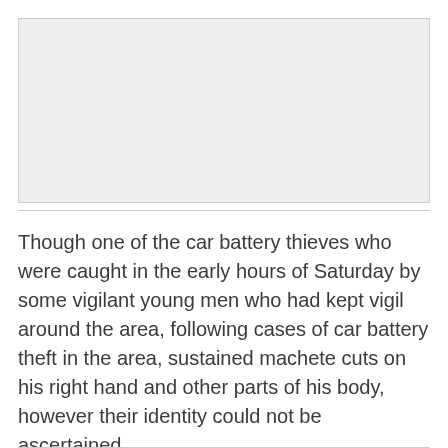[Figure (photo): Blank grey image placeholder at top of page]
Though one of the car battery thieves who were caught in the early hours of Saturday by some vigilant young men who had kept vigil around the area, following cases of car battery theft in the area, sustained machete cuts on his right hand and other parts of his body, however their identity could not be ascertained.